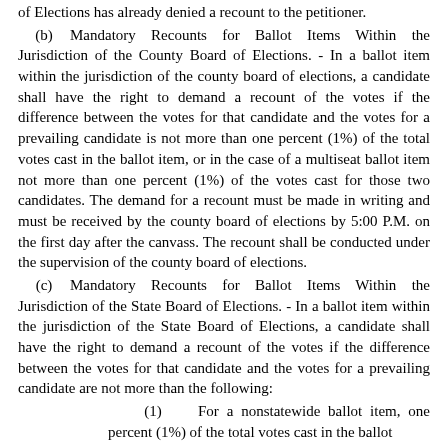of Elections has already denied a recount to the petitioner.
(b) Mandatory Recounts for Ballot Items Within the Jurisdiction of the County Board of Elections. - In a ballot item within the jurisdiction of the county board of elections, a candidate shall have the right to demand a recount of the votes if the difference between the votes for that candidate and the votes for a prevailing candidate is not more than one percent (1%) of the total votes cast in the ballot item, or in the case of a multiseat ballot item not more than one percent (1%) of the votes cast for those two candidates. The demand for a recount must be made in writing and must be received by the county board of elections by 5:00 P.M. on the first day after the canvass. The recount shall be conducted under the supervision of the county board of elections.
(c) Mandatory Recounts for Ballot Items Within the Jurisdiction of the State Board of Elections. - In a ballot item within the jurisdiction of the State Board of Elections, a candidate shall have the right to demand a recount of the votes if the difference between the votes for that candidate and the votes for a prevailing candidate are not more than the following:
(1) For a nonstatewide ballot item, one percent (1%) of the total votes cast in the ballot